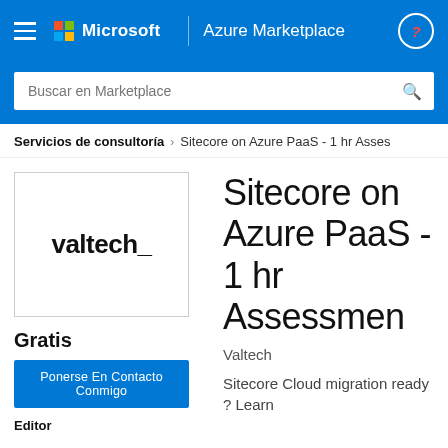Microsoft | Azure Marketplace
Buscar en Marketplace
Servicios de consultoría > Sitecore on Azure PaaS - 1 hr Asses
[Figure (logo): valtech_ company logo in bold black text]
Sitecore on Azure PaaS - 1 hr Assessment
Valtech
Sitecore Cloud migration ready ? Learn
Gratis
Ponerse En Contacto Conmigo
Editor